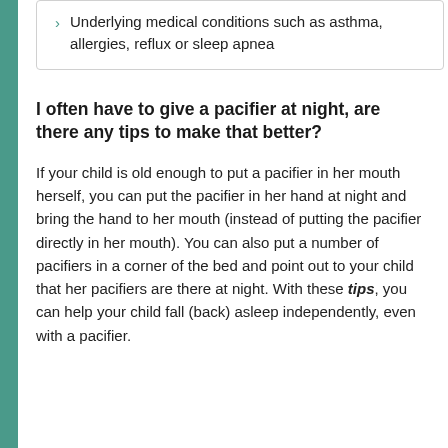Underlying medical conditions such as asthma, allergies, reflux or sleep apnea
I often have to give a pacifier at night, are there any tips to make that better?
If your child is old enough to put a pacifier in her mouth herself, you can put the pacifier in her hand at night and bring the hand to her mouth (instead of putting the pacifier directly in her mouth). You can also put a number of pacifiers in a corner of the bed and point out to your child that her pacifiers are there at night. With these tips, you can help your child fall (back) asleep independently, even with a pacifier.